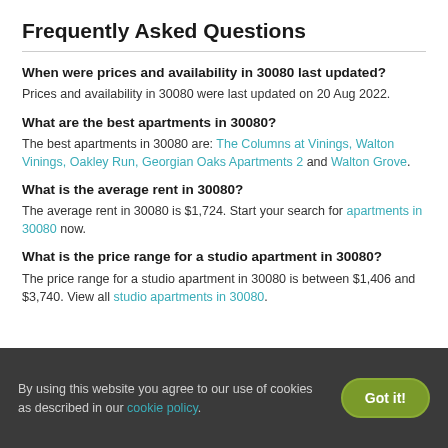Frequently Asked Questions
When were prices and availability in 30080 last updated?
Prices and availability in 30080 were last updated on 20 Aug 2022.
What are the best apartments in 30080?
The best apartments in 30080 are: The Columns at Vinings, Walton Vinings, Oakley Run, Georgian Oaks Apartments 2 and Walton Grove.
What is the average rent in 30080?
The average rent in 30080 is $1,724. Start your search for apartments in 30080 now.
What is the price range for a studio apartment in 30080?
The price range for a studio apartment in 30080 is between $1,406 and $3,740. View all studio apartments in 30080.
By using this website you agree to our use of cookies as described in our cookie policy.